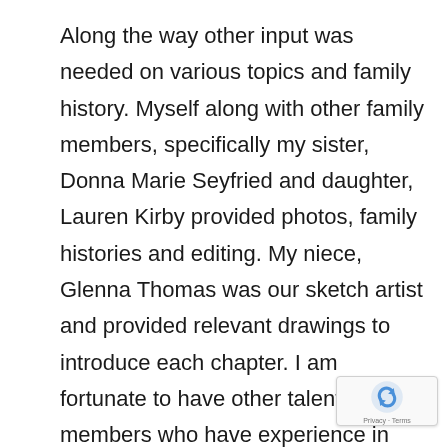Along the way other input was needed on various topics and family history. Myself along with other family members, specifically my sister, Donna Marie Seyfried and daughter, Lauren Kirby provided photos, family histories and editing. My niece, Glenna Thomas was our sketch artist and provided relevant drawings to introduce each chapter. I am fortunate to have other talented family members who have experience in writing and publishing and they also consulted on the manuscript: my son, Craig and brother-in-law, Robert Thomas have written and published professional articles and books, my son- in-law, Kasey Kirby provided creative input from his experience as owner/producer at Atlas Distric